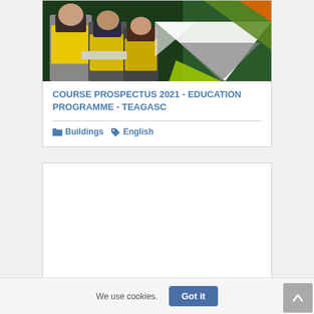[Figure (photo): Workers in yellow high-visibility vests examining something together, with colorful geometric triangles overlay (green, grey, orange) in the background]
COURSE PROSPECTUS 2021 - EDUCATION PROGRAMME - TEAGASC
Buildings   English
[Figure (other): Empty white card placeholder]
We use cookies.
Got it